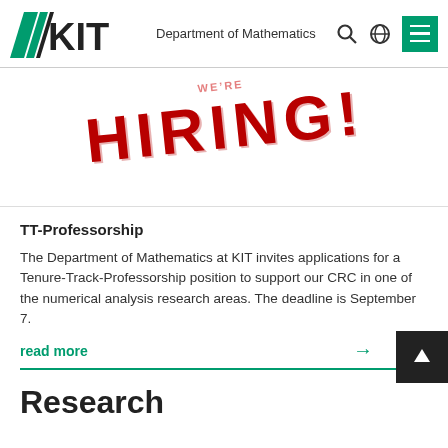KIT Department of Mathematics
[Figure (illustration): Large red stamp-style text reading 'HIRING!' at an angle on white background]
TT-Professorship
The Department of Mathematics at KIT invites applications for a Tenure-Track-Professorship position to support our CRC in one of the numerical analysis research areas. The deadline is September 7.
read more
Research